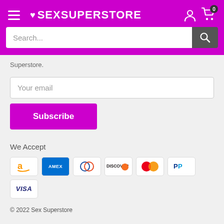[Figure (logo): SEX SUPERSTORE logo with hamburger menu, account icon and cart icon on purple header]
[Figure (screenshot): Search bar with text 'Search...' and dark search button]
Superstore.
Your email
Subscribe
We Accept
[Figure (infographic): Payment method icons: Amazon, Amex, Diners Club, Discover, Mastercard, PayPal, Visa]
© 2022 Sex Superstore